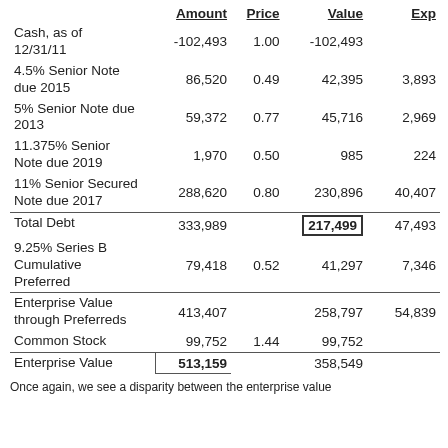|  | Amount | Price | Value | Exp |
| --- | --- | --- | --- | --- |
| Cash, as of 12/31/11 | -102,493 | 1.00 | -102,493 |  |
| 4.5% Senior Note due 2015 | 86,520 | 0.49 | 42,395 | 3,893 |
| 5% Senior Note due 2013 | 59,372 | 0.77 | 45,716 | 2,969 |
| 11.375% Senior Note due 2019 | 1,970 | 0.50 | 985 | 224 |
| 11% Senior Secured Note due 2017 | 288,620 | 0.80 | 230,896 | 40,407 |
| Total Debt | 333,989 |  | 217,499 | 47,493 |
| 9.25% Series B Cumulative Preferred | 79,418 | 0.52 | 41,297 | 7,346 |
| Enterprise Value through Preferreds | 413,407 |  | 258,797 | 54,839 |
| Common Stock | 99,752 | 1.44 | 99,752 |  |
| Enterprise Value | 513,159 |  | 358,549 |  |
Once again, we see a disparity between the enterprise value